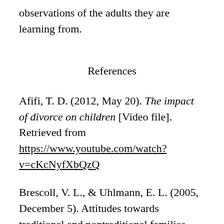observations of the adults they are learning from.
References
Afifi, T. D. (2012, May 20). The impact of divorce on children [Video file]. Retrieved from https://www.youtube.com/watch?v=cKcNyfXbQzQ
Brescoll, V. L., & Uhlmann, E. L. (2005, December 5). Attitudes towards traditional and nontraditional families. Psychology of Women Quarterly, 29, (4), pp.